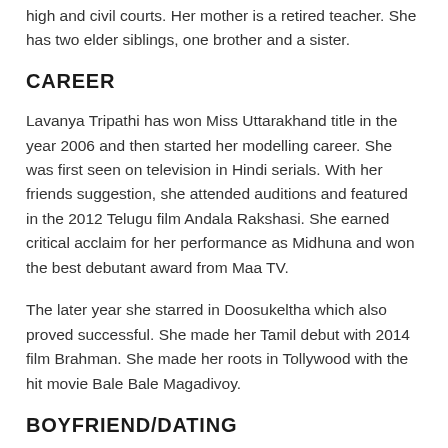high and civil courts. Her mother is a retired teacher. She has two elder siblings, one brother and a sister.
CAREER
Lavanya Tripathi has won Miss Uttarakhand title in the year 2006 and then started her modelling career. She was first seen on television in Hindi serials. With her friends suggestion, she attended auditions and featured in the 2012 Telugu film Andala Rakshasi. She earned critical acclaim for her performance as Midhuna and won the best debutant award from Maa TV.
The later year she starred in Doosukeltha which also proved successful. She made her Tamil debut with 2014 film Brahman. She made her roots in Tollywood with the hit movie Bale Bale Magadivoy.
BOYFRIEND/DATING
Actress Lavanya is currently not dating anyone.